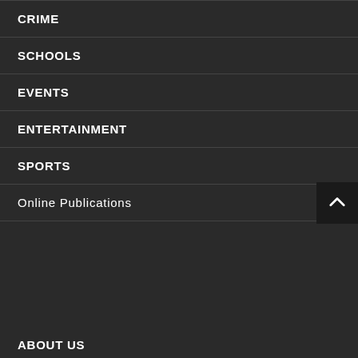CRIME
SCHOOLS
EVENTS
ENTERTAINMENT
SPORTS
Online Publications
ABOUT US